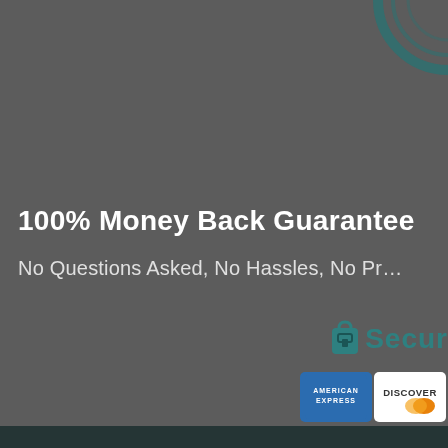[Figure (logo): Circular badge/guarantee seal partially visible in top-right corner, teal/dark teal color]
100% Money Back Guarantee
No Questions Asked, No Hassles, No Problems
[Figure (logo): Secure checkout logo with lock icon and 'Secur' text in teal]
[Figure (logo): American Express credit card logo badge]
[Figure (logo): Discover credit card logo badge]